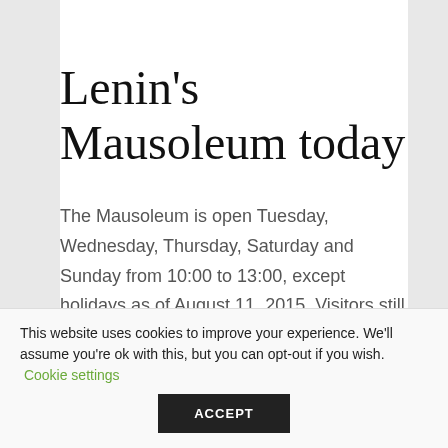Lenin's Mausoleum today
The Mausoleum is open Tuesday, Wednesday, Thursday, Saturday and Sunday from 10:00 to 13:00, except holidays as of August 11, 2015. Visitors still wait in lines to see Lenin's body although they are not as long as they once were. Entrance is free of charge.
This website uses cookies to improve your experience. We'll assume you're ok with this, but you can opt-out if you wish. Cookie settings ACCEPT